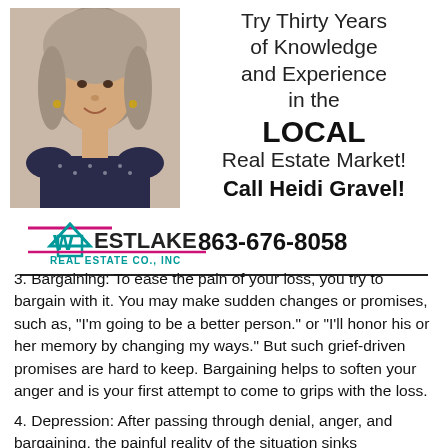[Figure (photo): Headshot photo of Heidi Gravel, a woman with gray hair, smiling, wearing a dark dotted blouse]
Try Thirty Years of Knowledge and Experience in the LOCAL Real Estate Market! Call Heidi Gravel! 863-676-8058
[Figure (logo): Westlake Real Estate Co., Inc logo with teal house icon and magenta roof line]
3. Bargaining: To ease the pain of your loss, you try to bargain with it. You may make sudden changes or promises, such as, "I'm going to be a better person." or "I'll honor his or her memory by changing my ways." But such grief-driven promises are hard to keep. Bargaining helps to soften your anger and is your first attempt to come to grips with the loss.
4. Depression: After passing through denial, anger, and bargaining, the painful reality of the situation sinks